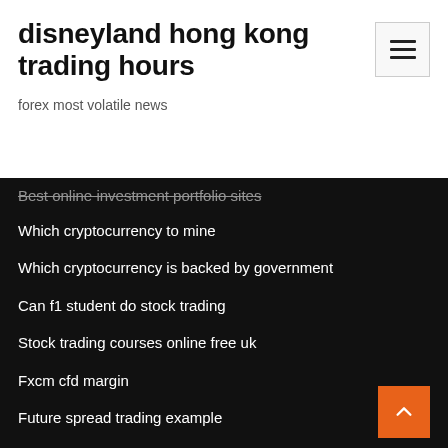disneyland hong kong trading hours
forex most volatile news
Best online investment portfolio sites
Which cryptocurrency to mine
Which cryptocurrency is backed by government
Can f1 student do stock trading
Stock trading courses online free uk
Fxcm cfd margin
Future spread trading example
Gsl stock split
Chart of long term stock market performance